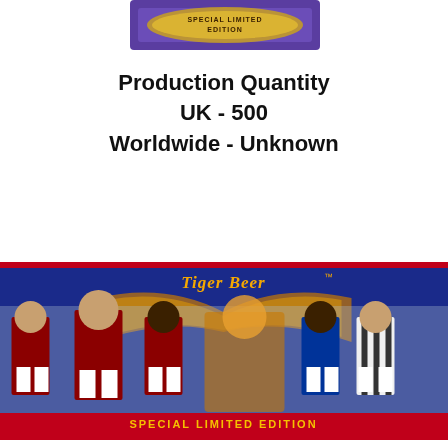[Figure (photo): Partial top view of a purple/blue box with gold text reading 'SPECIAL LIMITED EDITION']
Production Quantity
UK - 500
Worldwide - Unknown
[Figure (photo): Tiger Beer Special Limited Edition Corinthian football figurines box set showing 5 player figures inside a display box with 'Tiger Beer' branding and 'SPECIAL LIMITED EDITION' text at bottom, with a purple scroll-up button in the bottom right corner]